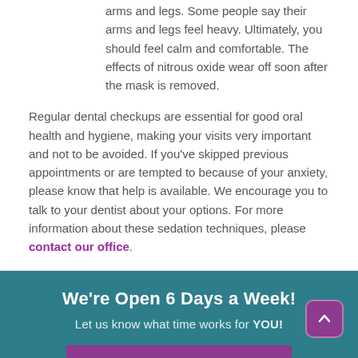arms and legs. Some people say their arms and legs feel heavy. Ultimately, you should feel calm and comfortable. The effects of nitrous oxide wear off soon after the mask is removed.
Regular dental checkups are essential for good oral health and hygiene, making your visits very important and not to be avoided. If you've skipped previous appointments or are tempted to because of your anxiety, please know that help is available. We encourage you to talk to your dentist about your options. For more information about these sedation techniques, please contact our office.
We're Open 6 Days a Week!
Let us know what time works for YOU!
SCHEDULE TODAY